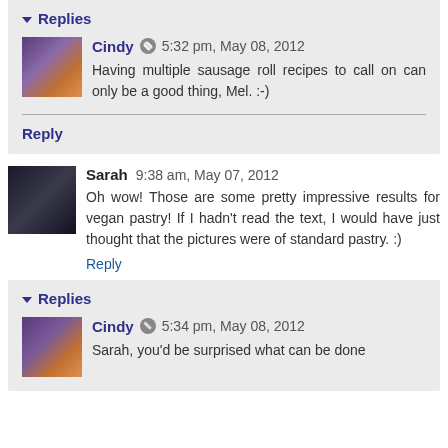Replies
Cindy 5:32 pm, May 08, 2012
Having multiple sausage roll recipes to call on can only be a good thing, Mel. :-)
Reply
Sarah 9:38 am, May 07, 2012
Oh wow! Those are some pretty impressive results for vegan pastry! If I hadn't read the text, I would have just thought that the pictures were of standard pastry. :)
Reply
Replies
Cindy 5:34 pm, May 08, 2012
Sarah, you'd be surprised what can be done